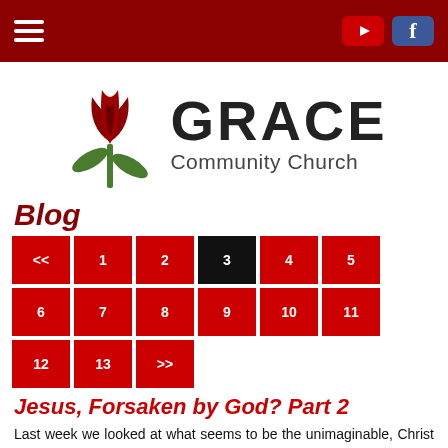Grace Community Church — navigation bar with hamburger menu, YouTube and Facebook icons
[Figure (logo): Grace Community Church logo: red tulip flower with green stem and leaves, beside bold text GRACE with Community Church below]
Blog
<< 1 2 3 4 5 6 7 8 9 10 11 12 13 >>  (pagination, page 3 active)
Jesus, Forsaken by God? Part 2
Last week we looked at what seems to be the unimaginable, Christ stating on the cross that the Father has forsaken Him. Knowing the Scriptures promise that that will never happen to His justified believers, though in some sense, Christ had to endure some type of separation from His Father. And knowing that sin separates us from God, Gen.4:14, Isa.5…